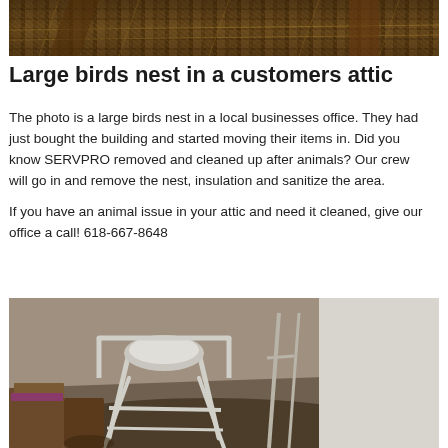[Figure (photo): Photo of a large bird's nest in an attic, showing hay/straw material between wooden rafters]
Large birds nest in a customers attic
The photo is a large birds nest in a local businesses office. They had just bought the building and started moving their items in. Did you know SERVPRO removed and cleaned up after animals? Our crew will go in and remove the nest, insulation and sanitize the area.
If you have an animal issue in your attic and need it cleaned, give our office a call! 618-667-8648
[Figure (photo): Photo of a cluttered storage area or basement with a commode chair, boxes, and other items on a dirty floor]